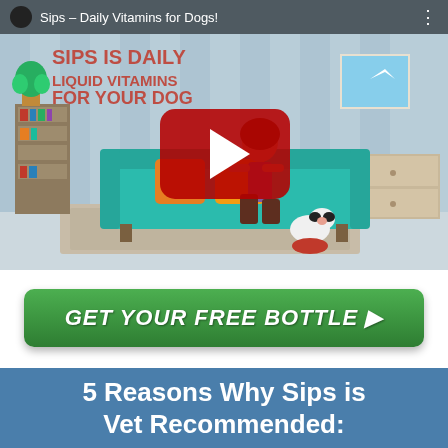[Figure (screenshot): YouTube video thumbnail showing animated cartoon of a woman kneeling with a dog and a food bowl in a living room. Video title bar reads 'Sips – Daily Vitamins for Dogs!' with a red YouTube play button overlay. The background shows text 'SIPS IS DAILY LIQUID VITAMINS FOR YOUR DOG' and cartoon home interior.]
[Figure (other): Green rounded rectangle CTA button reading 'GET YOUR FREE BOTTLE ▶' in bold white italic text on a gradient green background.]
5 Reasons Why Sips is Vet Recommended: